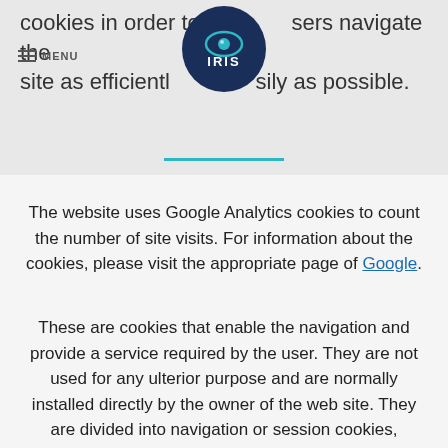cookies in order to help users navigate the site as efficiently and as easily as possible.
[Figure (logo): IRIS logo — dark navy oval with a stylized eye icon and the word IRIS in white text]
The website uses Google Analytics cookies to count the number of site visits. For information about the cookies, please visit the appropriate page of Google.
These are cookies that enable the navigation and provide a service required by the user. They are not used for any ulterior purpose and are normally installed directly by the owner of the web site. They are divided into navigation or session cookies, technical cookies, functional cookies (language, products selected for shopping)